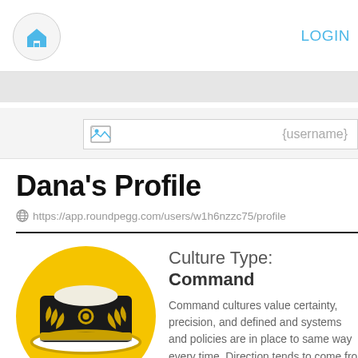LOGIN
{username}
Dana's Profile
https://app.roundpegg.com/users/w1h6nzzc75/profile
[Figure (illustration): Yellow circular badge with a naval captain's hat icon in black and white with gold trim]
Culture Type: Command
Command cultures value certainty, precision, and defined and systems and policies are in place to same way every time. Direction tends to come from ideas within the organization may get lost. Focus with the environment feeling structured and serio